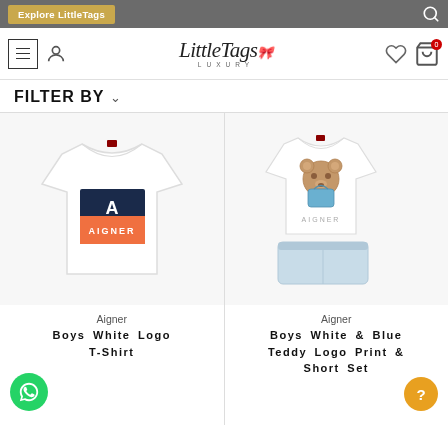Explore LittleTags
[Figure (logo): LittleTags Luxury script logo with bow decoration]
FILTER BY
[Figure (photo): Aigner Boys White Logo T-Shirt product photo on white background]
Aigner
Boys White Logo T-Shirt
[Figure (photo): Aigner Boys White & Blue Teddy Logo Print & Short Set product photo on white background]
Aigner
Boys White & Blue Teddy Logo Print & Short Set